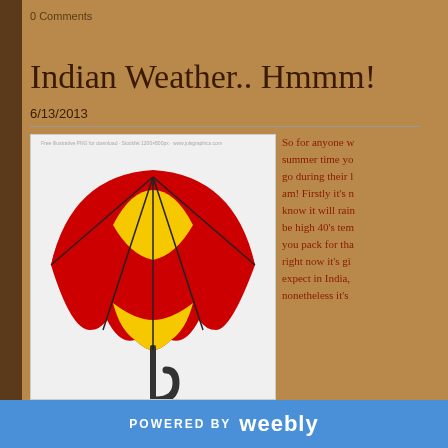0 Comments
Indian Weather.. Hmmm!
6/13/2013
[Figure (illustration): Red and yellow umbrella clipart illustration on white background with small text watermark at top]
So for anyone w... summer time yo... go during their ... am! Firstly it's n... know it will rain... be high 40's tem... you pack for tha... right now it's gi... expect in India, ... nonetheless it's ...
vast country! I have tonnes of summer clothes to pack for the h... be travelling too but have made sure to pack closed shoes, rain... unexpected showers! It isn't the idea time to go to India althou...
POWERED BY weebly